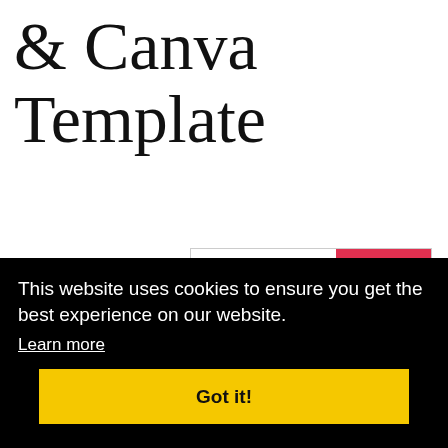& Canva Template
Developing a Healthy and Effective Communication Style All
[Figure (photo): Book cover showing 'COMMUNICATION: Developing a Healthy and Effective Communication Style All Your Own, Workbook Included' with a pig mascot and colorful design]
This website uses cookies to ensure you get the best experience on our website.
Learn more
Got it!
communication style. This eBook/workbook will